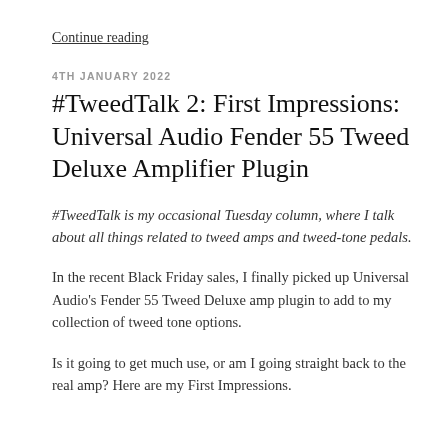Continue reading
4TH JANUARY 2022
#TweedTalk 2: First Impressions: Universal Audio Fender 55 Tweed Deluxe Amplifier Plugin
#TweedTalk is my occasional Tuesday column, where I talk about all things related to tweed amps and tweed-tone pedals.
In the recent Black Friday sales, I finally picked up Universal Audio's Fender 55 Tweed Deluxe amp plugin to add to my collection of tweed tone options.
Is it going to get much use, or am I going straight back to the real amp? Here are my First Impressions.